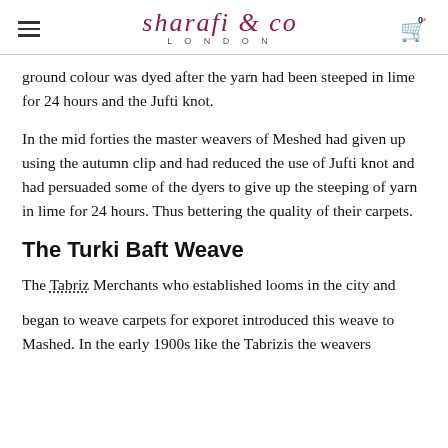SHARAFI & CO LONDON
ground colour was dyed after the yarn had been steeped in lime for 24 hours and the Jufti knot.
In the mid forties the master weavers of Meshed had given up using the autumn clip and had reduced the use of Jufti knot and had persuaded some of the dyers to give up the steeping of yarn in lime for 24 hours. Thus bettering the quality of their carpets.
The Turki Baft Weave
The Tabriz Merchants who established looms in the city and
began to weave carpets for exporet introduced this weave to Mashed. In the early 1900s like the Tabrizis the weavers